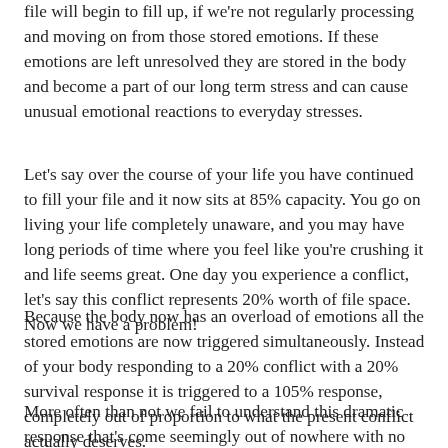file will begin to fill up, if we're not regularly processing and moving on from those stored emotions. If these emotions are left unresolved they are stored in the body and become a part of our long term stress and can cause unusual emotional reactions to everyday stresses.
Let's say over the course of your life you have continued to fill your file and it now sits at 85% capacity. You go on living your life completely unaware, and you may have long periods of time where you feel like you're crushing it and life seems great. One day you experience a conflict, let's say this conflict represents 20% worth of file space. Now we have a problem!
Because the body now has an overload of emotions all the stored emotions are now triggered simultaneously. Instead of your body responding to a 20% conflict with a 20% survival response it is triggered to a 105% response, completely out of proportion to what the present conflict actually deserves.
More often than not we fail to understand this dramatic response that's come seemingly out of nowhere with no explanation. The confusion of living in a survival state and not knowing what to do or how to get help further compounds the problem. Now that your file is “full” even the